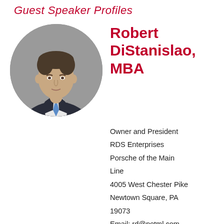Guest Speaker Profiles
[Figure (photo): Circular headshot photo of Robert DiStanislao, a middle-aged man in a dark suit with a blue tie, against a grey background.]
Robert DiStanislao, MBA
Owner and President
RDS Enterprises
Porsche of the Main Line
4005 West Chester Pike
Newtown Square, PA 19073
Email: rd@potml.com